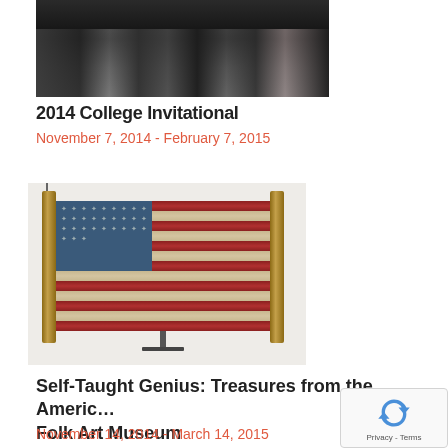[Figure (photo): Black and white photo of a group of people at what appears to be an art event or gallery opening, holding papers or clipboards]
2014 College Invitational
November 7, 2014 - February 7, 2015
[Figure (photo): Photograph of a folk art American flag sculpture/artwork mounted on a stand, made with textured red and white horizontal stripes and a blue canton with stars]
Self-Taught Genius: Treasures from the American Folk Art Museum
November 14, 2014 - March 14, 2015